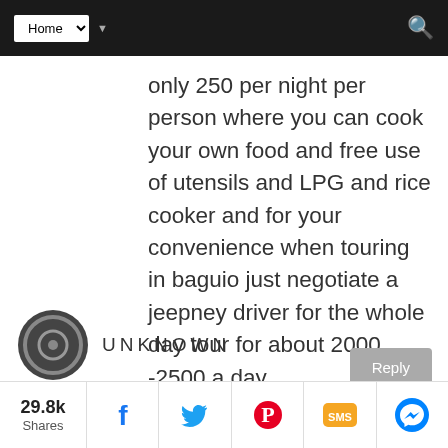Home (navigation dropdown)
only 250 per night per person where you can cook your own food and free use of utensils and LPG and rice cooker and for your convenience when touring in baguio just negotiate a jeepney driver for the whole day tour for about 2000 -2500 a day.
UNKNOWN
29.8k Shares